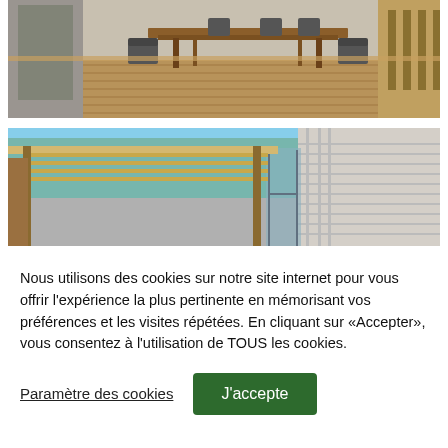[Figure (photo): Outdoor terrace with wooden dining table and chairs on a wooden deck, with sliding glass doors to a chalet/mobile home in the background]
[Figure (photo): Covered pergola/carport structure with wooden beams attached to a mobile home, showing a glass sliding door and the side of the building with horizontal siding panels]
Nous utilisons des cookies sur notre site internet pour vous offrir l'expérience la plus pertinente en mémorisant vos préférences et les visites répétées. En cliquant sur «Accepter», vous consentez à l'utilisation de TOUS les cookies.
Paramètre des cookies
J'accepte